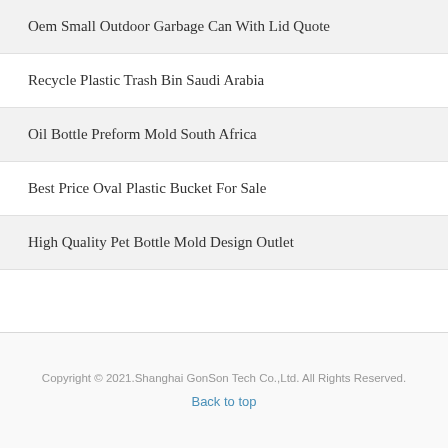Oem Small Outdoor Garbage Can With Lid Quote
Recycle Plastic Trash Bin Saudi Arabia
Oil Bottle Preform Mold South Africa
Best Price Oval Plastic Bucket For Sale
High Quality Pet Bottle Mold Design Outlet
Copyright © 2021.Shanghai GonSon Tech Co.,Ltd. All Rights Reserved.
Back to top